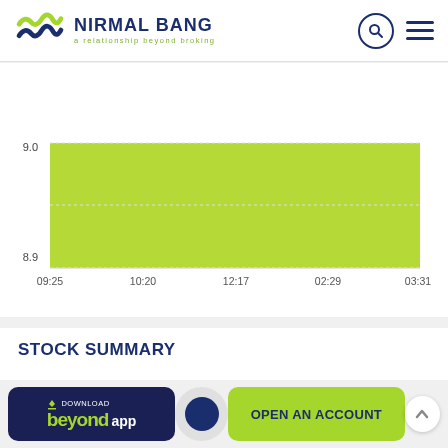[Figure (logo): Nirmal Bang logo with tagline 'a relationship beyond broking']
[Figure (area-chart): Stock price chart]
STOCK SUMMARY
[Figure (screenshot): Download Beyond app button and Open an Account button with scroll-to-top circle]